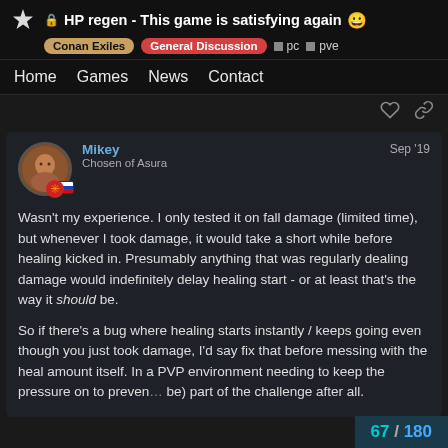HP regen - This game is satisfying again
Conan Exiles | General Discussion | pc | pve
Home  Games  News  Contact
Mikey
Chosen of Asura
Sep '19
Wasn't my experience. I only tested it on fall damage (limited time), but whenever I took damage, it would take a short while before healing kicked in. Presumably anything that was regularly dealing damage would indefinitely delay healing start - or at least that's the way it should be.

So if there's a bug where healing starts instantly / keeps going even though you just took damage, I'd say fix that before messing with the heal amount itself. In a PVP environment needing to keep the pressure on to preven... be) part of the challenge after all.
67 / 180